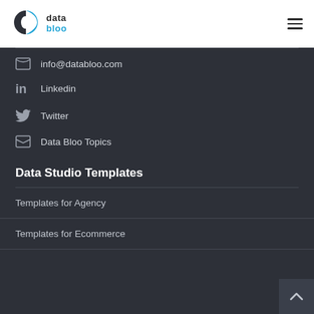[Figure (logo): DataBloo logo with blue half-circle D icon and text 'data bloo' in dark and blue]
info@databloo.com
Linkedin
Twitter
Data Bloo Topics
Data Studio Templates
Templates for Agency
Templates for Ecommerce